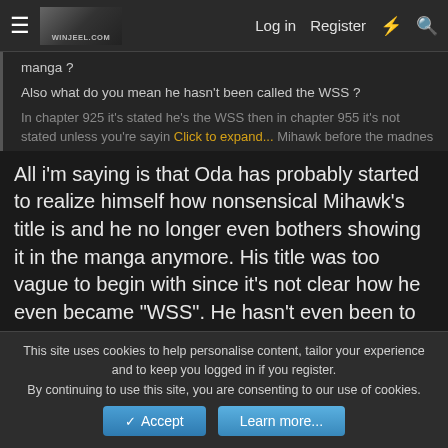≡  [logo]  Log in  Register  ⚡  🔍
manga ?
Also what do you mean he hasn't been called the WSS ?
In chapter 925 it's stated he's the WSS then in chapter 955 it's not stated unless you're sayin... Click to expand... Mihawk before the madnes
All i'm saying is that Oda has probably started to realize himself how nonsensical Mihawk's title is and he no longer even bothers showing it in the manga anymore. His title was too vague to begin with since it's not clear how he even became "WSS". He hasn't even been to Wano nor has he ever beaten anyone relevant or else we would have known by now. His title is 99% rumors by people just like Kaido's WSC title. Not a single relevant character has called Mihawk WSS except Zoro when
This site uses cookies to help personalise content, tailor your experience and to keep you logged in if you register.
By continuing to use this site, you are consenting to our use of cookies.
✔ Accept    Learn more...